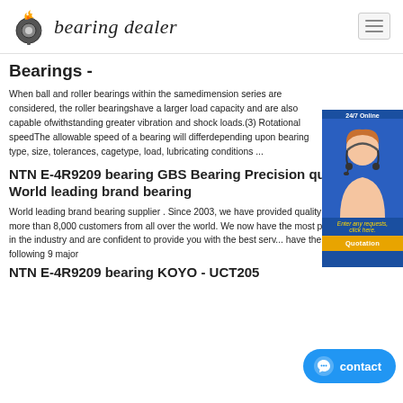[Figure (logo): Bearing dealer logo with flame gear icon and italic text 'bearing dealer']
Bearings -
When ball and roller bearings within the samedimension series are considered, the roller bearingshave a larger load capacity and are also capable ofwithstanding greater vibration and shock loads.(3) Rotational speedThe allowable speed of a bearing will differdepending upon bearing type, size, tolerances, cagetype, load, lubricating conditions ...
[Figure (photo): 24/7 Online customer service representative photo with blue background, quotation button]
NTN E-4R9209 bearing GBS Bearing Precision quality, World leading brand bearing
World leading brand bearing supplier . Since 2003, we have provided quality bearings for more than 8,000 customers from all over the world. We now have the most professional sales in the industry and are confident to provide you with the best serv... have the right to sell the following 9 major
NTN E-4R9209 bearing KOYO - UCT205
[Figure (other): Contact chat button in blue rounded rectangle]